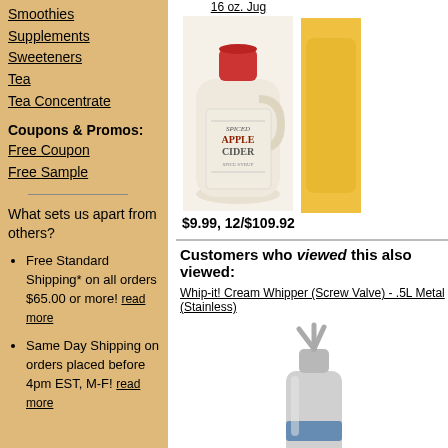Smoothies
Supplements
Sweeteners
Tea
Tea Concentrate
Coupons & Promos:
Free Coupon
Free Sample
What sets us apart from others?
Free Standard Shipping* on all orders $65.00 or more! read more
Same Day Shipping on orders placed before 4pm EST, M-F! read more
[Figure (photo): Spiced Apple Cider jug with red cap, cream colored ceramic look]
$9.99, 12/$109.92
[Figure (photo): Partial view of another product on the right edge]
$6
Customers who viewed this also viewed:
Whip-it! Cream Whipper (Screw Valve) - .5L Metal (Stainless)
[Figure (photo): Whip-it cream whipper stainless steel canister with nozzle attachments]